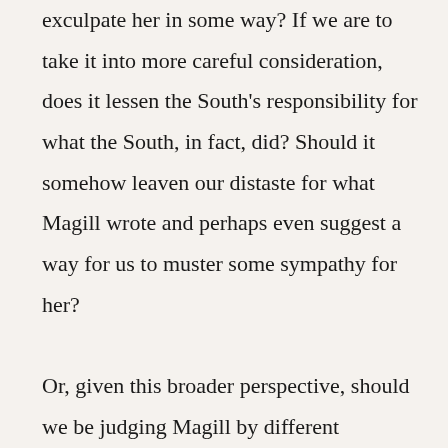exculpate her in some way? If we are to take it into more careful consideration, does it lessen the South's responsibility for what the South, in fact, did? Should it somehow leaven our distaste for what Magill wrote and perhaps even suggest a way for us to muster some sympathy for her?
Or, given this broader perspective, should we be judging Magill by different standards? Should we see her as a product of her time and place, a patriot even with some warts?